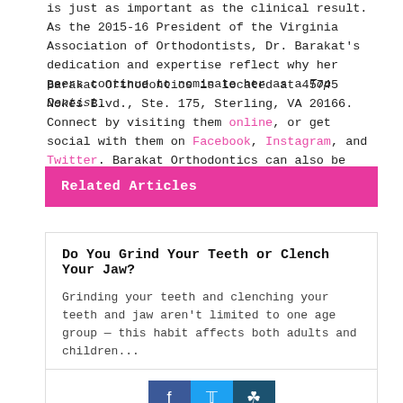is just as important as the clinical result. As the 2015-16 President of the Virginia Association of Orthodontists, Dr. Barakat's dedication and expertise reflect why her peers continue to nominate her as a Top Dentist.
Barakat Orthodontics is located at 45745 Nokes Blvd., Ste. 175, Sterling, VA 20166. Connect by visiting them online, or get social with them on Facebook, Instagram, and Twitter. Barakat Orthodontics can also be reached at (703) 433-9330.
Related Articles
Do You Grind Your Teeth or Clench Your Jaw?
Grinding your teeth and clenching your teeth and jaw aren't limited to one age group — this habit affects both adults and children...
[Figure (other): Social media icons: Facebook (blue), Twitter (cyan), Instagram (dark teal)]